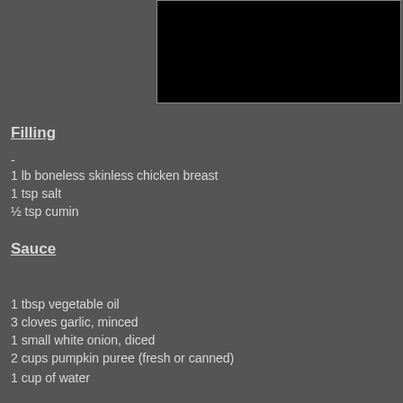[Figure (photo): Dark/black rectangular image placeholder at top center of page]
Filling
-
1 lb boneless skinless chicken breast
1 tsp salt
½ tsp cumin
Sauce
1 tbsp vegetable oil
3 cloves garlic, minced
1 small white onion, diced
2 cups pumpkin puree (fresh or canned)
1 cup of water